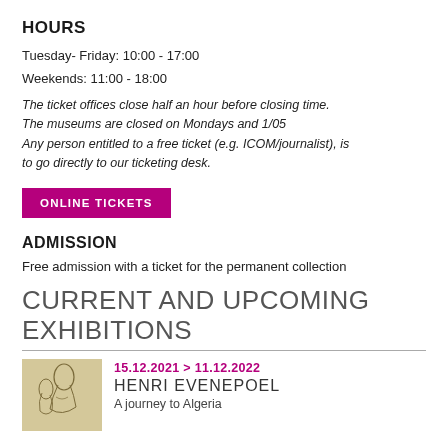HOURS
Tuesday- Friday: 10:00 - 17:00
Weekends: 11:00 - 18:00
The ticket offices close half an hour before closing time. The museums are closed on Mondays and 1/05 Any person entitled to a free ticket (e.g. ICOM/journalist), is to go directly to our ticketing desk.
ONLINE TICKETS
ADMISSION
Free admission with a ticket for the permanent collection
CURRENT AND UPCOMING EXHIBITIONS
[Figure (illustration): Sketch illustration of a figure, used as exhibition thumbnail for Henri Evenepoel exhibition]
15.12.2021 > 11.12.2022
HENRI EVENEPOEL
A journey to Algeria